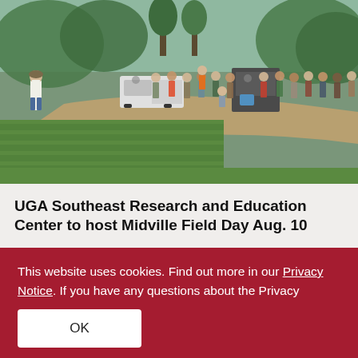[Figure (photo): Outdoor field day event showing a man in a white shirt and hat speaking to a large group of people standing along a dirt path next to green crop rows, with trees and vehicles in the background.]
UGA Southeast Research and Education Center to host Midville Field Day Aug. 10
This website uses cookies. Find out more in our Privacy Notice. If you have any questions about the Privacy Notice, please contact infosec@uga.edu.